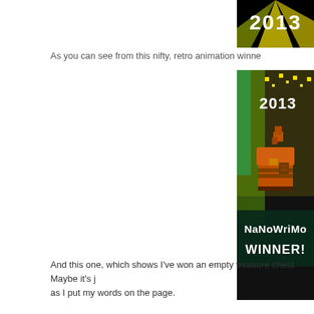[Figure (screenshot): Top cropped portion of a NaNoWriMo 2013 winner banner showing '2013' text on black background with yellow rays]
As you can see from this nifty, retro animation winne
[Figure (screenshot): NaNoWriMo 2013 WINNER! retro pixel art animation showing a pixel-art treasure chest character holding something up, with yellow/green pixel rays on black/dark background, text 'NaNoWriMo' and 'WINNER!' and '2013']
And this one, which shows I've won an empty treasure chest. Maybe it's j as I put my words on the page.